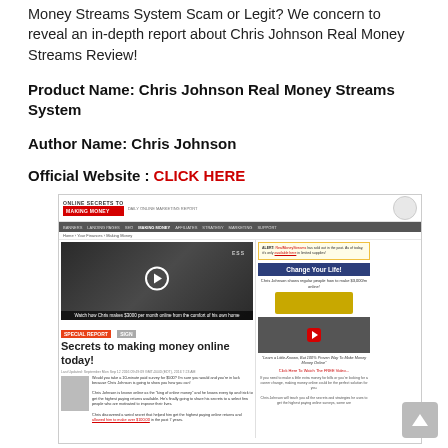Money Streams System Scam or Legit? We concern to reveal an in-depth report about Chris Johnson Real Money Streams Review!
Product Name: Chris Johnson Real Money Streams System
Author Name: Chris Johnson
Official Website : CLICK HERE
[Figure (screenshot): Screenshot of a website titled 'Online Secrets to Making Money' showing a video player with caption 'Watch how Chris makes $3000 per month online from the comfort of his own home', a special report section with headline 'Secrets to making money online today!', a sidebar with 'Change Your Life!' banner and video, and an alert box. The right sidebar shows Chris Johnson claims to show people how to make $3,000/m online.]